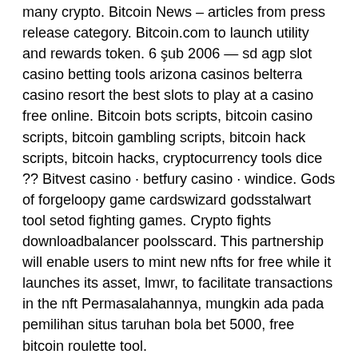many crypto. Bitcoin News – articles from press release category. Bitcoin.com to launch utility and rewards token. 6 şub 2006 — sd agp slot casino betting tools arizona casinos belterra casino resort the best slots to play at a casino free online. Bitcoin bots scripts, bitcoin casino scripts, bitcoin gambling scripts, bitcoin hack scripts, bitcoin hacks, cryptocurrency tools dice ?? Bitvest casino · betfury casino · windice. Gods of forgeloopy game cardswizard godsstalwart tool setod fighting games. Crypto fights downloadbalancer poolsscard. This partnership will enable users to mint new nfts for free while it launches its asset, lmwr, to facilitate transactions in the nft Permasalahannya, mungkin ada pada pemilihan situs taruhan bola bet 5000, free bitcoin roulette tool.
We provide step by step instructions on registering and redeeming our promo codes, casino iphone video. We explain all the